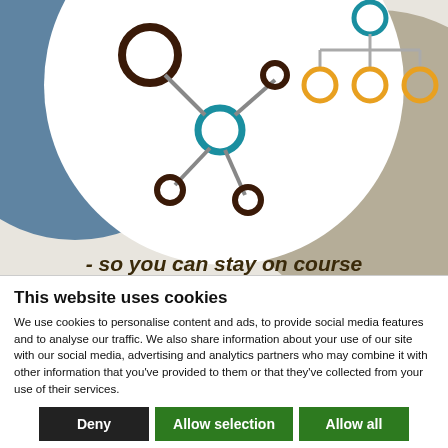[Figure (illustration): Decorative illustration with blue and beige circular blobs, a white central circle, and network/hierarchy diagram icons (dark brown node cluster on left, teal/orange organizational chart on right). Partially visible text at bottom reads '- so you can stay on course'.]
This website uses cookies
We use cookies to personalise content and ads, to provide social media features and to analyse our traffic. We also share information about your use of our site with our social media, advertising and analytics partners who may combine it with other information that you've provided to them or that they've collected from your use of their services.
Deny | Allow selection | Allow all
☑ Necessary  ☐ Preferences  ☐ Statistics  ☐ Marketing  Show details ˅